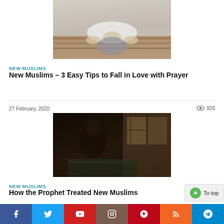[Figure (photo): Person praying in prostration (sujood) on a decorated carpet]
NEW MUSLIMS
New Muslims – 3 Easy Tips to Fall in Love with Prayer
27 February, 2020
926
[Figure (photo): Man sitting by a window in dim light, looking contemplative]
NEW MUSLIMS
How the Prophet Treated New Muslims